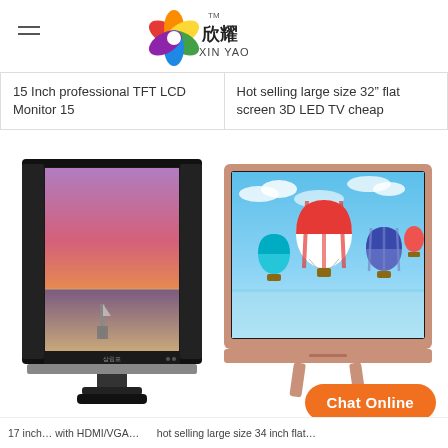XIN YAO
15 Inch professional TFT LCD Monitor 15
Hot selling large size 32" flat screen 3D LED TV cheap
[Figure (photo): Black 15-inch TFT LCD monitor with a beach sunset scene on screen, on a black stand]
[Figure (photo): Rose gold flat screen LED TV displaying colorful hot air balloons in blue sky, on pink stand]
Chat Online
17 inch... with HDMI/VGA...    ...hot selling large size 34 inch flat...